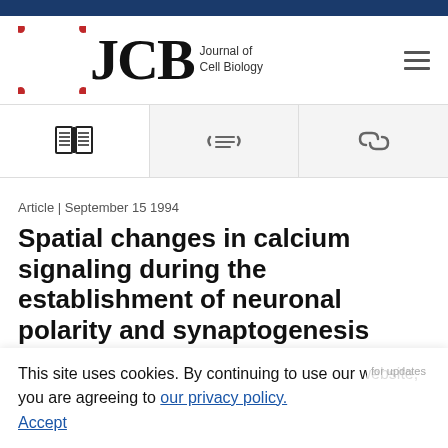[Figure (logo): JCB Journal of Cell Biology logo with red circular motif icon and large JCB serif text]
[Figure (infographic): Three icon buttons: open book (PDF/full text), citation/list icon, and chain link icon for sharing]
Article | September 15 1994
Spatial changes in calcium signaling during the establishment of neuronal polarity and synaptogenesis
This site uses cookies. By continuing to use our website, you are agreeing to our privacy policy. Accept